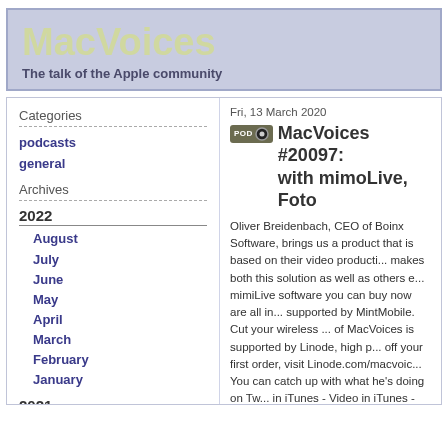MacVoices
The talk of the Apple community
Categories
podcasts
general
Archives
2022
August
July
June
May
April
March
February
January
2021
December
November
Fri, 13 March 2020
MacVoices #20097: with mimoLive, Foto
Oliver Breidenbach, CEO of Boinx Software, brings us a product that is based on their video production solution that makes both this solution as well as others easier to use. The mimiLive software you can buy now are all in... This episode is supported by MintMobile. Cut your wireless bill... This episode of MacVoices is supported by Linode, high performance... $20 off your first order, visit Linode.com/macvoices... You can catch up with what he's doing on Twitter. Listen in iTunes - Video in iTunes - HD Video in iTunes - Subscribe: http://www.macvoices.com/rss/macvoicesrss... Support MacVoices via Paypal or become a MacVoices Patron on Patreon. Follow him on Twitter. Links: Mevo Start Ca...
Direct download: MV20097.mp3
Category:podcasts — posted at: 5:50pm EDT